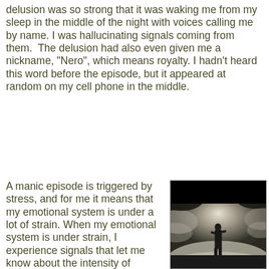delusion was so strong that it was waking me from my sleep in the middle of the night with voices calling me by name. I was hallucinating signals coming from them.  The delusion had also even given me a nickname, "Nero", which means royalty. I hadn't heard this word before the episode, but it appeared at random on my cell phone in the middle.
A manic episode is triggered by stress, and for me it means that my emotional system is under a lot of strain. When my emotional system is under strain, I experience signals that let me know about the intensity of
[Figure (photo): A dramatic photo of a person in a dark suit standing in the middle of swirling misty clouds with a bright light behind them. The scene is moody and atmospheric, with dark clouds above and grey mist surrounding the figure. A watermark reads shutterstock.com.]